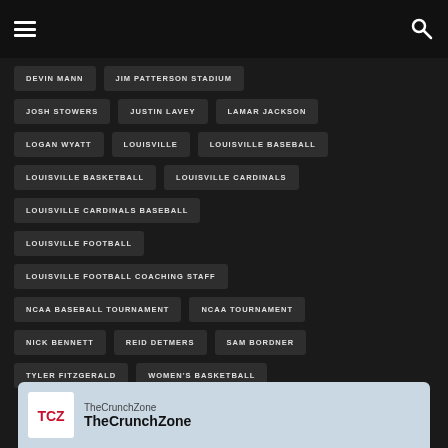Navigation header with menu and search icons
DEVIN MANN
JIM PATTERSON STADIUM
JOSH STOWERS
JUSTIN LAVEY
LAMAR JACKSON
LOGAN WYATT
LOUISVILLE
LOUISVILLE BASEBALL
LOUISVILLE BASKETBALL
LOUISVILLE CARDINALS
LOUISVILLE CARDINALS BASEBALL
LOUISVILLE FOOTBALL
LOUISVILLE FOOTBALL COACHING STAFF
NCAA BASEBALL TOURNAMENT
NCAA TOURNAMENT
NICK BENNETT
REID DETMERS
SAM BORDNER
TYLER FITZGERALD
WOMEN'S BASKETBALL
TheCrunchZone
TheCrunchZone